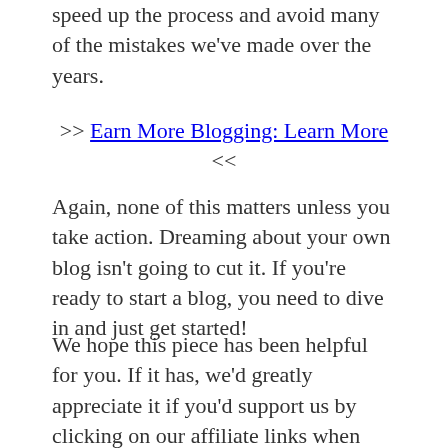Earn More Blogging, and it's a great way to speed up the process and avoid many of the mistakes we've made over the years.
>> Earn More Blogging: Learn More <<
Again, none of this matters unless you take action. Dreaming about your own blog isn't going to cut it. If you're ready to start a blog, you need to dive in and just get started!
We hope this piece has been helpful for you. If it has, we'd greatly appreciate it if you'd support us by clicking on our affiliate links when you sign up. Oh, and don't forget to check out our free blogging course by using the form below!